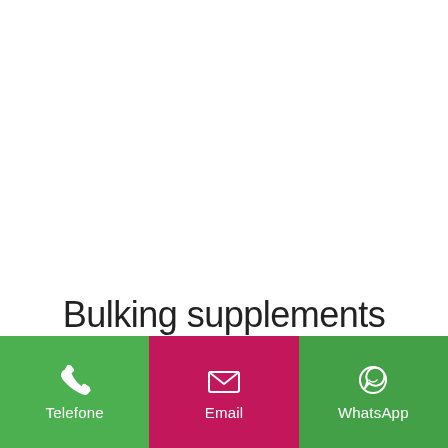Bulking supplements
[Figure (infographic): Mobile app contact bar with three buttons: Telefone (green, phone icon), Email (pink/magenta, envelope icon), WhatsApp (green, WhatsApp icon) displayed at the bottom of a white page.]